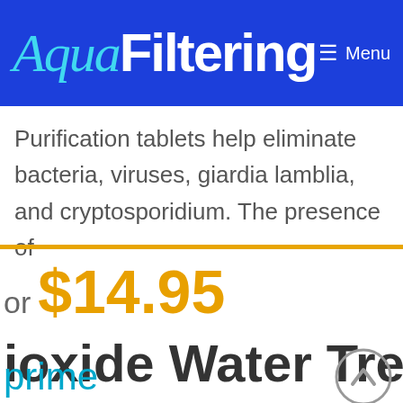AquaFiltering  Menu
Purification tablets help eliminate bacteria, viruses, giardia lamblia, and cryptosporidium. The presence of
or $14.95
ioxide Water Trea
prime